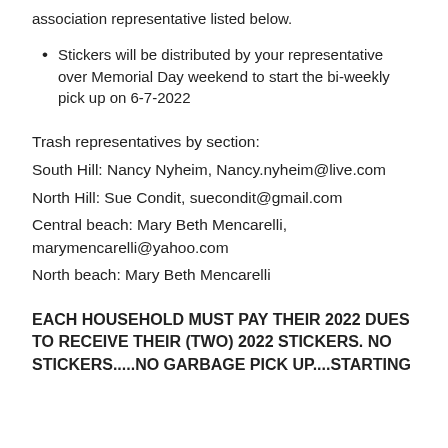association representative listed below.
Stickers will be distributed by your representative over Memorial Day weekend to start the bi-weekly pick up on 6-7-2022
Trash representatives by section:
South Hill: Nancy Nyheim, Nancy.nyheim@live.com
North Hill: Sue Condit, suecondit@gmail.com
Central beach: Mary Beth Mencarelli, marymencarelli@yahoo.com
North beach: Mary Beth Mencarelli
EACH HOUSEHOLD MUST PAY THEIR 2022 DUES TO RECEIVE THEIR (TWO) 2022 STICKERS. NO STICKERS.....NO GARBAGE PICK UP....STARTING